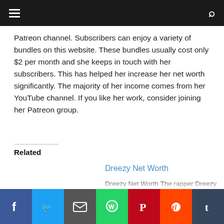[Navigation header with hamburger menu and search icon]
Patreon channel. Subscribers can enjoy a variety of bundles on this website. These bundles usually cost only $2 per month and she keeps in touch with her subscribers. This has helped her increase her net worth significantly. The majority of her income comes from her YouTube channel. If you like her work, consider joining her Patreon group.
Related
Dreezy Net Worth
Dreezy Net Worth The rapper Dreezy has an estimated net worth of $ s… her music has made her a global…